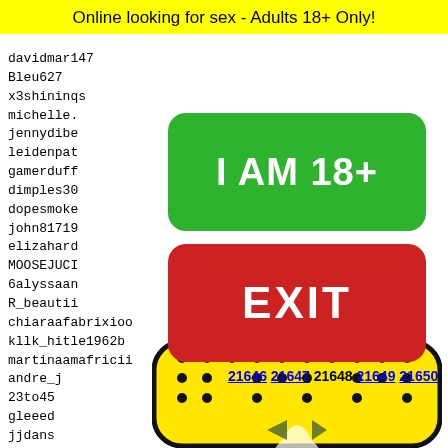Online looking for sex - Adults 18+ Only!
davidmar147
Bleu627
x3shininqs
michelle.
jennydibe
leidenpat
gamerduff
dimples30
dopesmoke
john81719
elizahard
MOOSEJUCI
6alyssaan
R_beautii
chiaraafabrixioo
kllk_hitle1962b
martinaamafricii
andre_j
23to45
gleeed
jjdans
amaiah
lauraa
mrcea
Teddy6
[Figure (infographic): Green button with text I AM 18+]
[Figure (infographic): Red button with text EXIT]
21646 21647 21648 21649 21650
[Figure (illustration): Snapchat ghost logo on yellow background with black dots pattern]